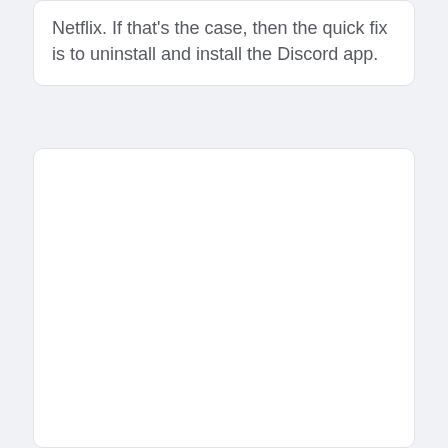Netflix. If that's the case, then the quick fix is to uninstall and install the Discord app.
[Figure (other): Empty white card/box area, likely a placeholder for an image or screenshot]